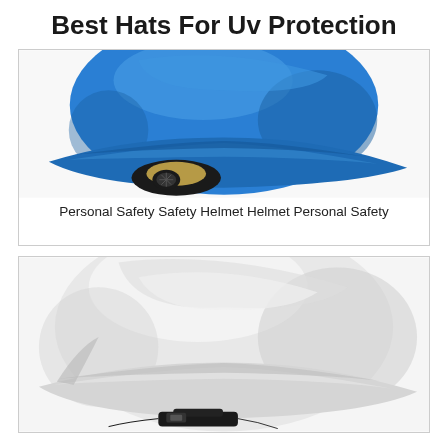Best Hats For Uv Protection
[Figure (photo): Blue construction safety helmet/hard hat viewed from the side, showing the brim and interior adjustment mechanism with black and tan colors.]
Personal Safety Safety Helmet Helmet Personal Safety
[Figure (photo): White construction safety helmet/hard hat viewed from a front-side angle, showing the dome, brim, and black chin strap adjustment at the bottom.]